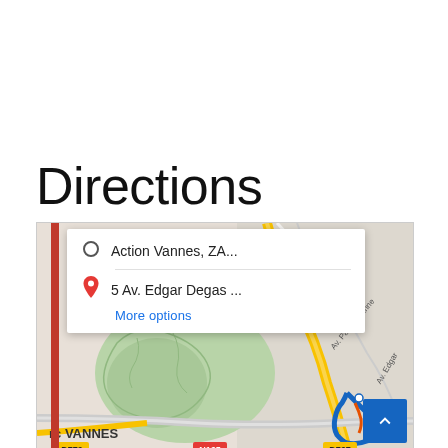Directions
[Figure (map): Google Maps screenshot showing directions from Action Vannes, ZA... to 5 Av. Edgar Degas ..., with a popup card displaying origin and destination, a 'More options' link, and a map of Vannes, France showing roads D767, N165, D779, streets Av. Paul Cezanne and Av. Edgar, and district labels LES TROI, BEG ER, VANNES.]